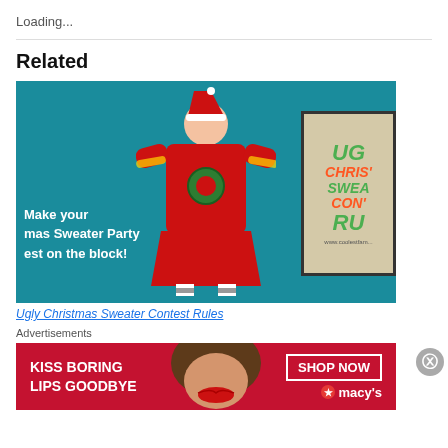Loading...
Related
[Figure (photo): Thumbnail image for 'Ugly Christmas Sweater Contest Rules' showing a person in a red ugly Christmas sweater costume on a teal background, with a sign reading UG CHRIS' SWEA CONT RU and text overlay 'Make your mas Sweater Party est on the block!']
Ugly Christmas Sweater Contest Rules
Advertisements
[Figure (photo): Macy's advertisement banner with red background, woman's face, text 'KISS BORING LIPS GOODBYE' and 'SHOP NOW' button with Macy's star logo]